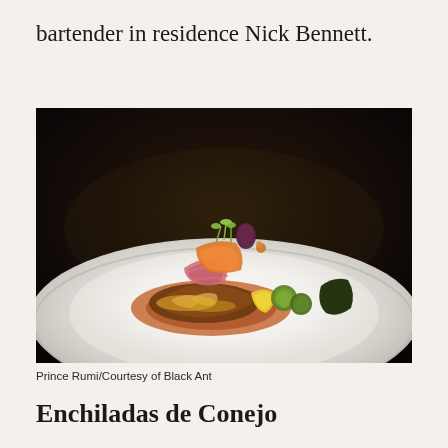bartender in residence Nick Bennett.
[Figure (photo): A gourmet plate of food on a white plate, featuring enchiladas with garnishes including pickled onions, orange and red sauces, yellow squash, Brussels sprouts, dark leafy greens, and micro-green sprouts on top, photographed against a dark background.]
Prince Rumi/Courtesy of Black Ant
Enchiladas de Conejo